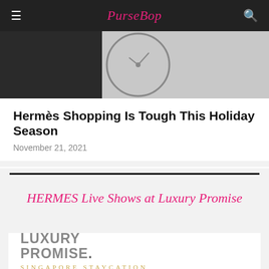PurseBop
[Figure (photo): Partial view of a luxury item or watch face on a tiled surface, dark background]
Hermès Shopping Is Tough This Holiday Season
November 21, 2021
HERMES Live Shows at Luxury Promise
[Figure (logo): Luxury Promise logo with text LUXURY PROMISE. and SINGAPORE STAYCATION below in gold lettering]